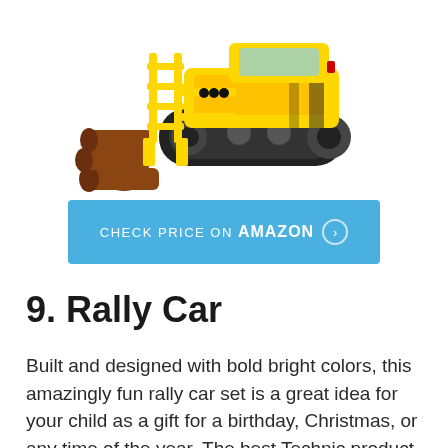[Figure (photo): LEGO Technic tracked vehicle (yellow and black) with a log grabber/fork attachment in front and rubber tracks, with some brown log pieces beside it, on a white background.]
CHECK PRICE ON AMAZON ›
9. Rally Car
Built and designed with bold bright colors, this amazingly fun rally car set is a great idea for your child as a gift for a birthday, Christmas, or any time of the year. The best Technic product for...